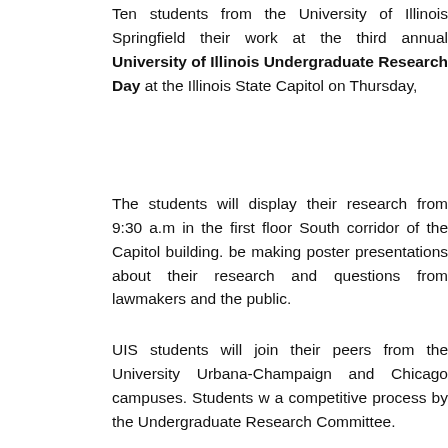Ten students from the University of Illinois Springfield their work at the third annual University of Illinois Undergraduate Research Day at the Illinois State Capitol on Thursday,
The students will display their research from 9:30 a.m. in the first floor South corridor of the Capitol building. be making poster presentations about their research and questions from lawmakers and the public.
UIS students will join their peers from the University of Urbana-Champaign and Chicago campuses. Students were selected through a competitive process by the Undergraduate Research Committee.
Chemistry major Ashley Hollinshead will present research on optimizing the freshwater denitrification process in bacteria using iron nanoparticles, history major Kendr...